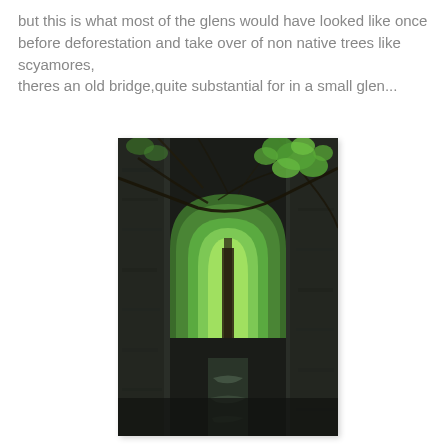but this is what most of the glens would have looked like once before deforestation and take over of non native trees like scyamores,
theres an old bridge,quite substantial for in a small glen...
[Figure (photo): A photograph looking through an old stone arch bridge in a lush green glen, with trees and foliage visible through the arch opening, moss-covered stone walls on either side, and a stream visible at the base.]